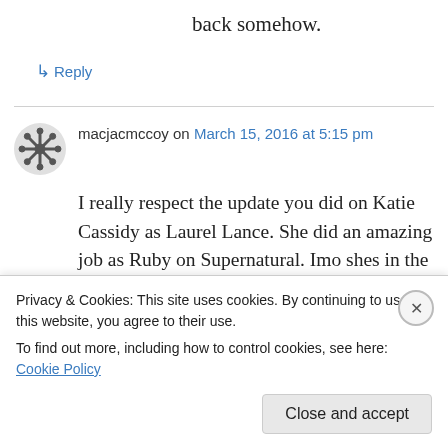back somehow.
↳ Reply
macjacmccoy on March 15, 2016 at 5:15 pm
I really respect the update you did on Katie Cassidy as Laurel Lance. She did an amazing job as Ruby on Supernatural. Imo shes in the top five of actressess who have had a reoccurring role on that show (up there with Bella, Jo, Ellen, and Col Mary). Sam hes also been priori it
Privacy & Cookies: This site uses cookies. By continuing to use this website, you agree to their use.
To find out more, including how to control cookies, see here: Cookie Policy
Close and accept